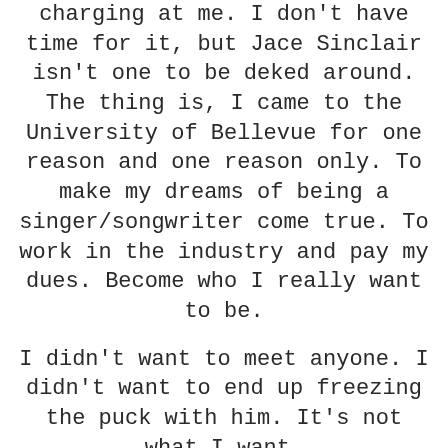charging at me. I don't have time for it, but Jace Sinclair isn't one to be deked around. The thing is, I came to the University of Bellevue for one reason and one reason only. To make my dreams of being a singer/songwriter come true. To work in the industry and pay my dues. Become who I really want to be.
I didn't want to meet anyone. I didn't want to end up freezing the puck with him. It's not what I want.
I have demons.
I have issues.
Living in the shadows, no one even knew until it was too late. But Jace wants to know.